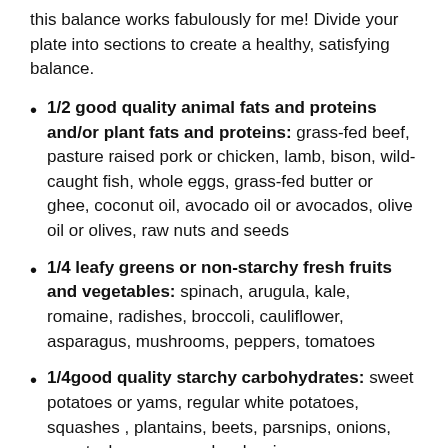Personally, after a few years of experience, I have found that this balance works fabulously for me! Divide your plate into sections to create a healthy, satisfying balance.
1/2 good quality animal fats and proteins and/or plant fats and proteins: grass-fed beef, pasture raised pork or chicken, lamb, bison, wild-caught fish, whole eggs, grass-fed butter or ghee, coconut oil, avocado oil or avocados, olive oil or olives, raw nuts and seeds
1/4 leafy greens or non-starchy fresh fruits and vegetables: spinach, arugula, kale, romaine, radishes, broccoli, cauliflower, asparagus, mushrooms, peppers, tomatoes
1/4good quality starchy carbohydrates: sweet potatoes or yams, regular white potatoes, squashes , plantains, beets, parsnips, onions, carrots, bananas, apples, berries